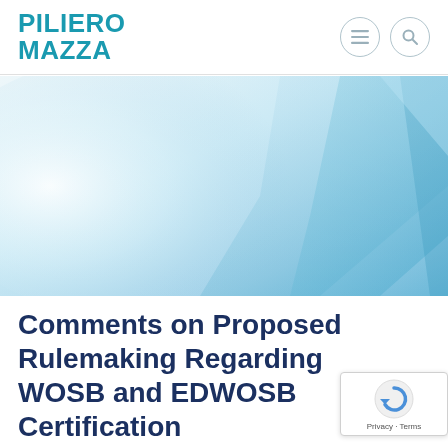PILIERO MAZZA
[Figure (illustration): Abstract blue and light blue geometric gradient hero banner image with angular shapes and soft glow effects in shades of blue, cyan, and white.]
Comments on Proposed Rulemaking Regarding WOSB and EDWOSB Certification